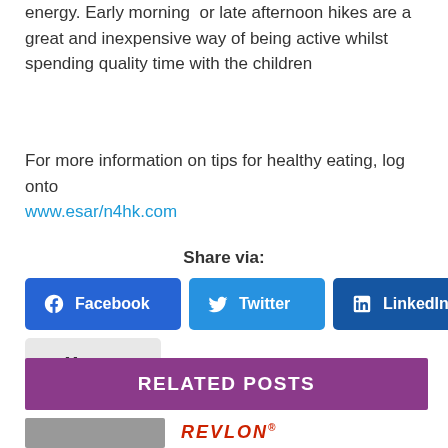energy. Early morning  or late afternoon hikes are a great and inexpensive way of being active whilst spending quality time with the children
For more information on tips for healthy eating, log onto www.esar/n4hk.com
Share via:
[Figure (other): Social share buttons: Facebook, Twitter, LinkedIn, More]
RELATED POSTS
[Figure (photo): Bottom of page with a person photo thumbnail and REVLON logo in red]